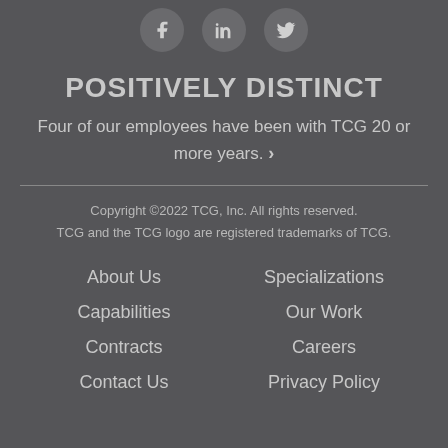[Figure (logo): Three social media icons: Facebook, LinkedIn, Twitter, displayed as circular grey buttons at the top of the page]
POSITIVELY DISTINCT
Four of our employees have been with TCG 20 or more years. ›
Copyright ©2022 TCG, Inc. All rights reserved.
TCG and the TCG logo are registered trademarks of TCG.
About Us
Capabilities
Contracts
Contact Us
Specializations
Our Work
Careers
Privacy Policy